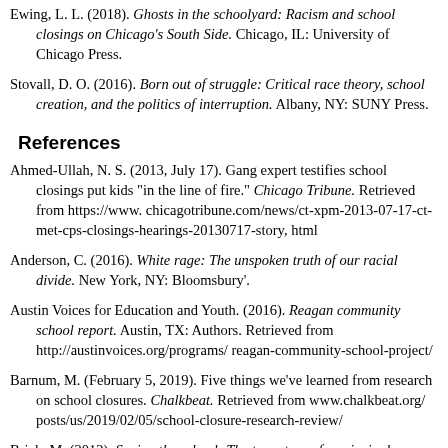Ewing, L. L. (2018). Ghosts in the schoolyard: Racism and school closings on Chicago's South Side. Chicago, IL: University of Chicago Press.
Stovall, D. O. (2016). Born out of struggle: Critical race theory, school creation, and the politics of interruption. Albany, NY: SUNY Press.
References
Ahmed-Ullah, N. S. (2013, July 17). Gang expert testifies school closings put kids "in the line of fire." Chicago Tribune. Retrieved from https://www.chicagotribune.com/news/ct-xpm-2013-07-17-ct-met-cps-closings-hearings-20130717-story.html
Anderson, C. (2016). White rage: The unspoken truth of our racial divide. New York, NY: Bloomsbury'.
Austin Voices for Education and Youth. (2016). Reagan community school report. Austin, TX: Authors. Retrieved from http://austinvoices.org/programs/ reagan-community-school-project/
Barnum, M. (February 5, 2019). Five things we've learned from research on school closures. Chalkbeat. Retrieved from www.chalkbeat.org/ posts/us/2019/02/05/school-closure-research-review/
Brick, M. (2012). Saving the school: The true story of a principal, a teacher, a bunch of kids, and a year in the crosshairs of education reform. New York, NY: